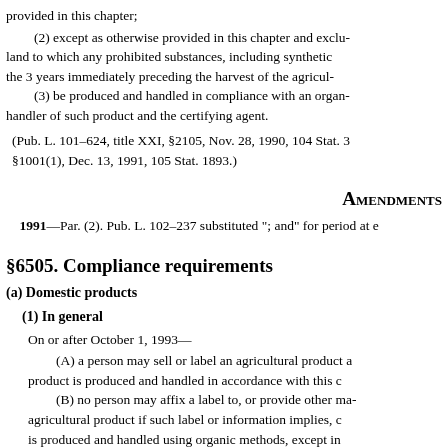provided in this chapter;
(2) except as otherwise provided in this chapter and exclu- land to which any prohibited substances, including synthetic the 3 years immediately preceding the harvest of the agricul-
(3) be produced and handled in compliance with an organ- handler of such product and the certifying agent.
(Pub. L. 101–624, title XXI, §2105, Nov. 28, 1990, 104 Stat. 3 §1001(1), Dec. 13, 1991, 105 Stat. 1893.)
AMENDMENTS
1991—Par. (2). Pub. L. 102–237 substituted "; and" for period at e
§6505. Compliance requirements
(a) Domestic products
(1) In general
On or after October 1, 1993—
(A) a person may sell or label an agricultural product a product is produced and handled in accordance with this c
(B) no person may affix a label to, or provide other ma agricultural product if such label or information implies, c is produced and handled using organic methods, except in
(2) USDA standards and seal
A label affixed to a product or information provided ab